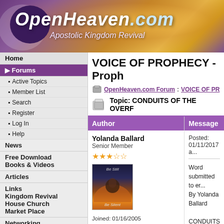[Figure (illustration): OpenHeaven.com website banner with purple/golden sky background, crescent logo, site name in italic bold white text, tagline 'Apostolic Kingdom Revival']
OpenHeaven.com — Apostolic Kingdom Revival
Home
Forums (active)
Active Topics
Member List
Search
Register
Log In
Help
News
Free Download Books & Videos
Articles
Links Kingdom Revival House Church Market Place
Networking
Prayer
Library
Old Reports
Audio/Video
Live Webcasts
VOICE OF PROPHECY - Proph...
OpenHeaven.com Forum : VOICE OF PR...
Topic: CONDUITS OF THE OVERF...
| Author | Message |
| --- | --- |
| Yolanda Ballard
Senior Member
★★★☆☆
[avatar]
Joined: 01/16/2005
Location: United States
Online Status: Offline
Posts: 500 | Posted: 01/11/2017 a...
Word submitted to er...
By Yolanda Ballard

CONDUITS OF THE...

This is the day and th...
ever before. I am filli...
Me and basking in M...
important that you pa...
to fill you up so fully t...
spread out and touch...
not the time to go off... |